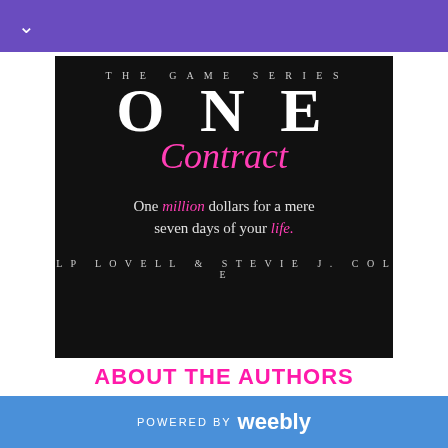v
[Figure (illustration): Book cover for 'One Contract' from The Game Series by LP Lovell & Stevie J. Cole. Dark background with a man in a suit. Text: THE GAME SERIES, ONE, Contract, One million dollars for a mere seven days of your life. LP LOVELL & STEVIE J. COLE]
ABOUT THE AUTHORS
POWERED BY weebly